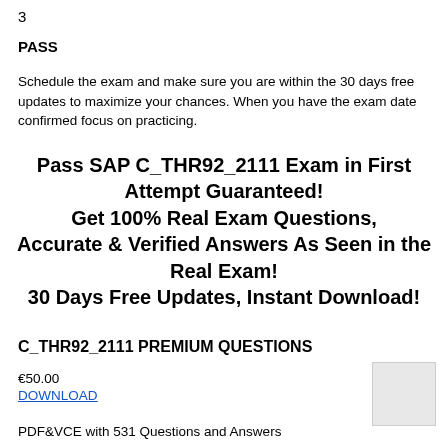3
PASS
Schedule the exam and make sure you are within the 30 days free updates to maximize your chances. When you have the exam date confirmed focus on practicing.
Pass SAP C_THR92_2111 Exam in First Attempt Guaranteed! Get 100% Real Exam Questions, Accurate & Verified Answers As Seen in the Real Exam! 30 Days Free Updates, Instant Download!
C_THR92_2111 PREMIUM QUESTIONS
€50.00
DOWNLOAD
PDF&VCE with 531 Questions and Answers